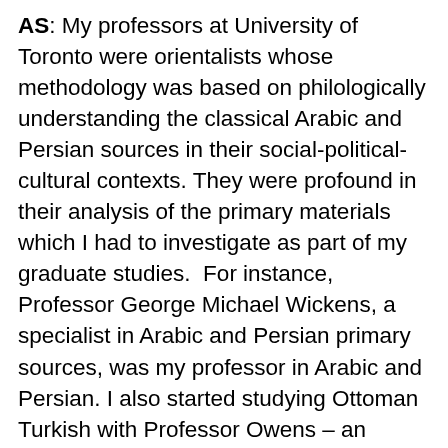AS: My professors at University of Toronto were orientalists whose methodology was based on philologically understanding the classical Arabic and Persian sources in their social-political-cultural contexts. They were profound in their analysis of the primary materials which I had to investigate as part of my graduate studies.  For instance, Professor George Michael Wickens, a specialist in Arabic and Persian primary sources, was my professor in Arabic and Persian. I also started studying Ottoman Turkish with Professor Owens – an Ottoman historian. I did not pursue Turkish studies very diligently.  As a graduate student you had to acquire a comprehensive understanding of Islamic civilizations based on its primary resources.  Hence, history of the Safavid Empire, the Ottoman Empire, and Moghul Empire, was required of all graduate students in